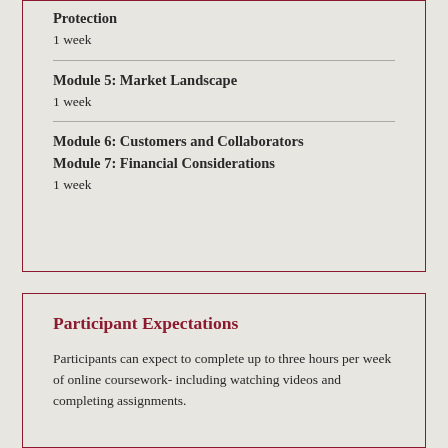Protection
1 week
Module 5: Market Landscape
1 week
Module 6: Customers and Collaborators
Module 7: Financial Considerations
1 week
Participant Expectations
Participants can expect to complete up to three hours per week of online coursework- including watching videos and completing assignments.